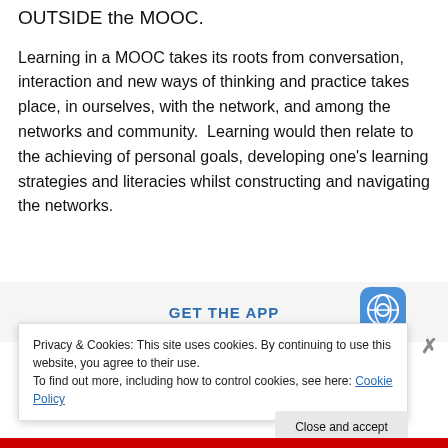OUTSIDE the MOOC.
Learning in a MOOC takes its roots from conversation, interaction and new ways of thinking and practice takes place, in ourselves, with the network, and among the networks and community.  Learning would then relate to the achieving of personal goals, developing one’s learning strategies and literacies whilst constructing and navigating the networks.
[Figure (screenshot): GET THE APP banner with WordPress logo icon]
Privacy & Cookies: This site uses cookies. By continuing to use this website, you agree to their use.
To find out more, including how to control cookies, see here: Cookie Policy
Close and accept